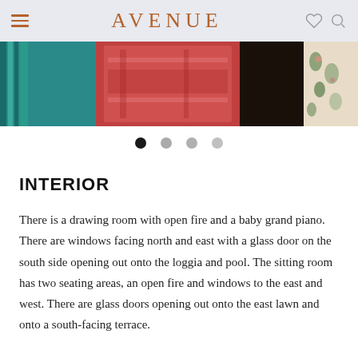AVENUE
[Figure (photo): Horizontal strip showing colorful rugs and textiles on the left, and floral curtains on the right]
[Figure (other): Carousel pagination dots: one dark active dot followed by three lighter inactive dots]
INTERIOR
There is a drawing room with open fire and a baby grand piano. There are windows facing north and east with a glass door on the south side opening out onto the loggia and pool. The sitting room has two seating areas, an open fire and windows to the east and west. There are glass doors opening out onto the east lawn and onto a south-facing terrace.